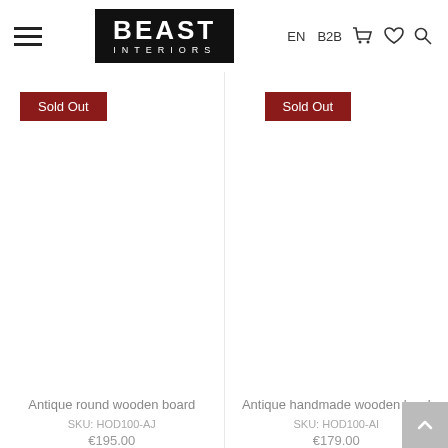Beast Interiors — EN B2B navigation header
[Figure (screenshot): Sold Out badge (red) for Antique round wooden board product]
[Figure (screenshot): Sold Out badge (red) for Antique handmade wooden bowl product]
Antique round wooden board
SKU: HOD100-AJ
€195.00
Antique handmade wooden bowl
SKU: HOD100-AI
€179.00